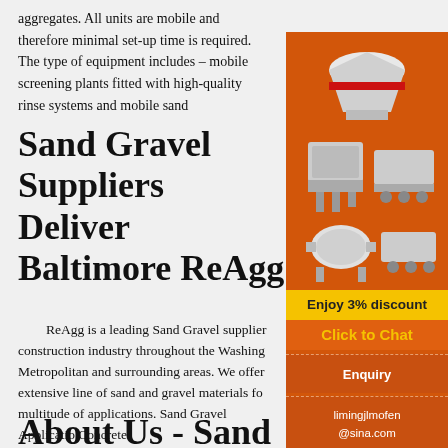aggregates. All units are mobile and therefore minimal set-up time is required. The type of equipment includes – mobile screening plants fitted with high-quality rinse systems and mobile sand
Sand Gravel Suppliers Delivery Baltimore ReAgg
ReAgg is a leading Sand Gravel supplier construction industry throughout the Washington Metropolitan and surrounding areas. We offer extensive line of sand and gravel materials for multitude of applications. Sand Gravel Applications: Concrete
[Figure (illustration): Advertisement panel with orange background showing industrial mining/crushing machines (cone crusher, jaw crusher, ball mill), yellow discount bar, orange chat button, enquiry section, and email contact limingjlmofen@sina.com]
About Us - Sand Science Inc